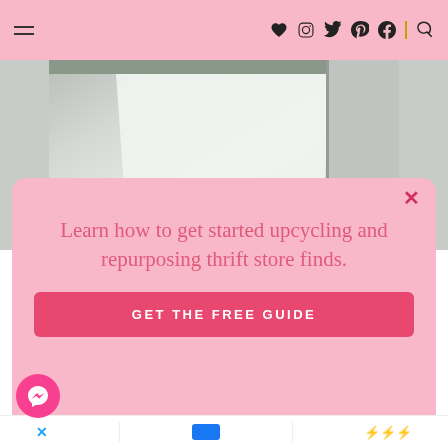≡  ♥  Instagram  Twitter  Pinterest  f  |  Search
[Figure (photo): Photo of white sheer curtains hanging from a rod near a rustic door frame, with a chandelier visible at bottom left. White and grey tones.]
Learn how to get started upcycling and repurposing thrift store finds.
GET THE FREE GUIDE